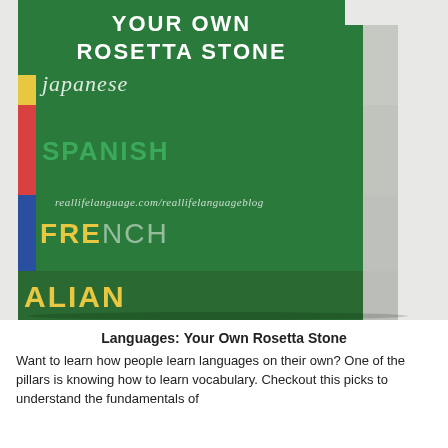[Figure (photo): Stack of language learning books (Japanese, Spanish, French, Italian) with green covers and colored spines. Green overlay at top reads 'YOUR OWN ROSETTA STONE'. URL watermark reads reallifelanguage.com/reallifelanguageblog.]
Languages: Your Own Rosetta Stone
Want to learn how people learn languages on their own? One of the pillars is knowing how to learn vocabulary. Checkout this picks to understand the fundamentals of